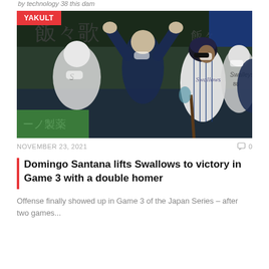by technology 38 this dam
[Figure (photo): Baseball players celebrating in dugout, one batter looking up after hit, players wearing masks and Swallows uniforms, Japanese stadium signage in background, YAKULT badge overlay]
NOVEMBER 23, 2021
0
Domingo Santana lifts Swallows to victory in Game 3 with a double homer
Offense finally showed up in Game 3 of the Japan Series – after two games...